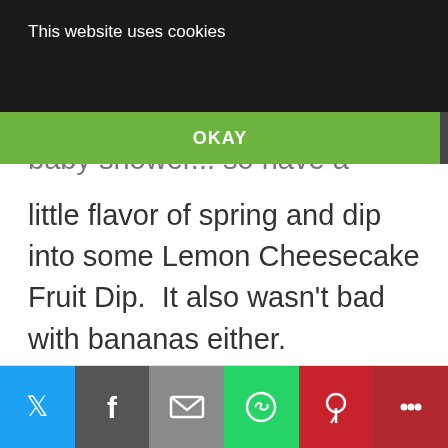This website uses cookies
OKAY
MORE INFO
baby shower... so have a little flavor of spring and dip into some Lemon Cheesecake Fruit Dip.  It also wasn't bad with bananas either.
[Figure (other): Blue side navigation tab with right arrow '>']
[Figure (other): Social media share bar with Twitter, Facebook, Email, WhatsApp, Pinterest, and More buttons at bottom of page]